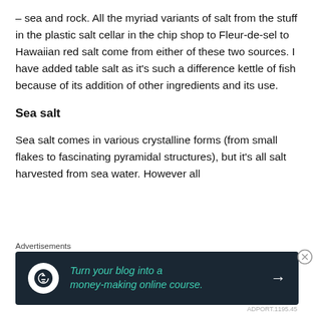– sea and rock. All the myriad variants of salt from the stuff in the plastic salt cellar in the chip shop to Fleur-de-sel to Hawaiian red salt come from either of these two sources. I have added table salt as it's such a difference kettle of fish because of its addition of other ingredients and its use.
Sea salt
Sea salt comes in various crystalline forms (from small flakes to fascinating pyramidal structures), but it's all salt harvested from sea water. However all
Advertisements
[Figure (other): Advertisement banner with dark background showing an icon and teal italic text: 'Turn your blog into a money-making online course.' with a white right arrow.]